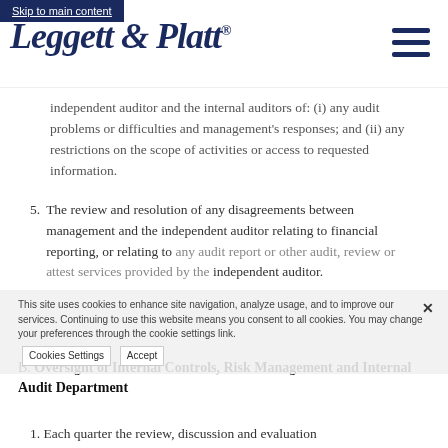Skip to main content
[Figure (logo): Leggett & Platt script logo in navy blue with registered trademark symbol]
independent auditor and the internal auditors of: (i) any audit problems or difficulties and management's responses; and (ii) any restrictions on the scope of activities or access to requested information.
5. The review and resolution of any disagreements between management and the independent auditor relating to financial reporting, or relating to any audit report or other audit, review or attest services provided by the independent auditor.
B. Oversight of Internal Controls, Risk Management and Internal Audit Department
1. Each quarter the review, discussion and evaluation